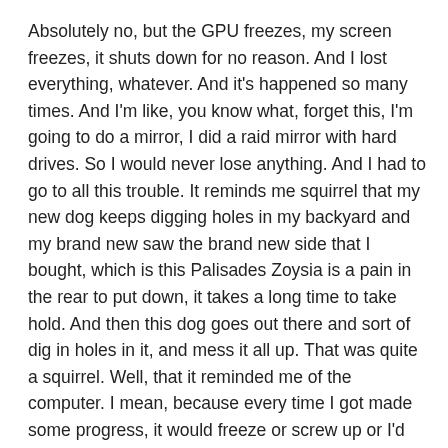Absolutely no, but the GPU freezes, my screen freezes, it shuts down for no reason. And I lost everything, whatever. And it's happened so many times. And I'm like, you know what, forget this, I'm going to do a mirror, I did a raid mirror with hard drives. So I would never lose anything. And I had to go to all this trouble. It reminds me squirrel that my new dog keeps digging holes in my backyard and my brand new saw the brand new side that I bought, which is this Palisades Zoysia is a pain in the rear to put down, it takes a long time to take hold. And then this dog goes out there and sort of dig in holes in it, and mess it all up. That was quite a squirrel. Well, that it reminded me of the computer. I mean, because every time I got made some progress, it would freeze or screw up or I'd have to buy a new ram stick or whatever. A sick of it. And so finally, Now that everything's cloud based, and I just need access to the internet with some superior